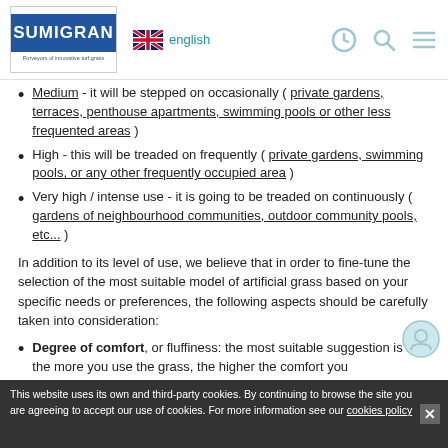SUMIGRAN | english
Medium - it will be stepped on occasionally ( private gardens, terraces, penthouse apartments, swimming pools or other less frequented areas )
High - this will be treaded on frequently ( private gardens, swimming pools, or any other frequently occupied area )
Very high / intense use - it is going to be treaded on continuously ( gardens of neighbourhood communities, outdoor community pools, etc... )
In addition to its level of use, we believe that in order to fine-tune the selection of the most suitable model of artificial grass based on your specific needs or preferences, the following aspects should be carefully taken into consideration:
Degree of comfort, or fluffiness: the most suitable suggestion is that the more you use the grass, the higher the comfort you should seek out
The level of resilience (recovery or vertical stiffness)
This website uses its own and third-party cookies. By continuing to browse the site you are agreeing to accept our use of cookies. For more information see our cookies policy